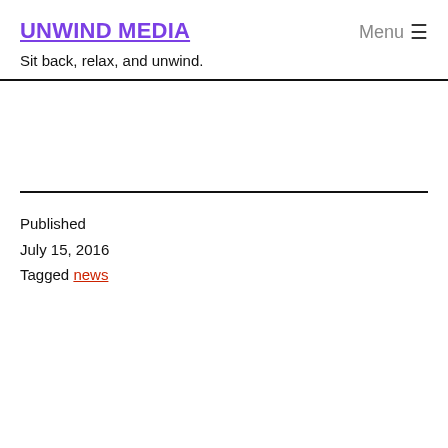UNWIND MEDIA
Sit back, relax, and unwind.
Published
July 15, 2016
Tagged news